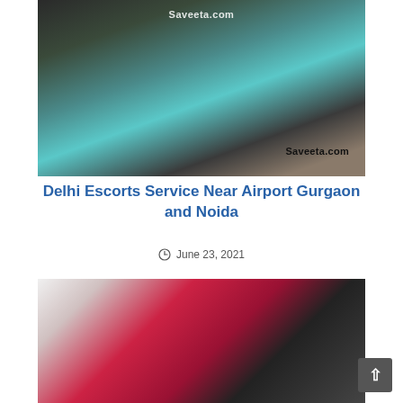[Figure (photo): Photo of a woman in teal top and black pants reclining on a sofa, with 'Saveeta.com' watermark at top and bottom]
Delhi Escorts Service Near Airport Gurgaon and Noida
June 23, 2021
[Figure (photo): Photo of a woman in red top holding a phone]